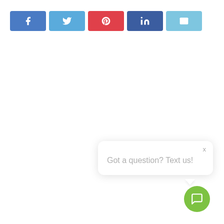[Figure (screenshot): Row of five social media share buttons: Facebook (blue), Twitter (light blue), Pinterest (red), LinkedIn (dark blue), Email (light blue)]
[Figure (screenshot): Chat popup bubble with close X button and text 'Got a question? Text us!' with a speech bubble tail pointing down to a green chat FAB button]